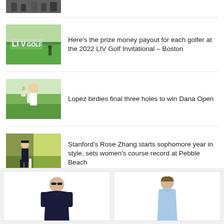[Figure (photo): Partial photo of golfers, cropped at top of page]
Here's the prize money payout for each golfer at the 2022 LIV Golf Invitational – Boston
Lopez birdies final three holes to win Dana Open
Stanford's Rose Zhang starts sophomore year in style, sets women's course record at Pebble Beach
[Figure (photo): Two product photos at bottom: man in dark golf polo and woman in light blue sleeveless top]